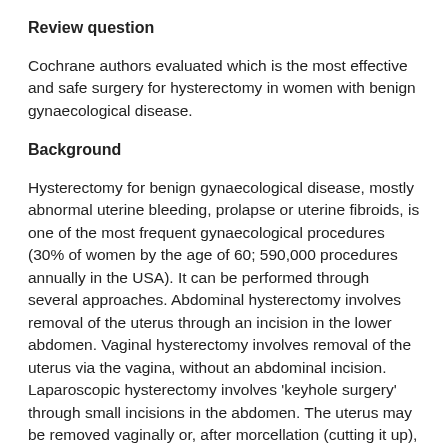Review question
Cochrane authors evaluated which is the most effective and safe surgery for hysterectomy in women with benign gynaecological disease.
Background
Hysterectomy for benign gynaecological disease, mostly abnormal uterine bleeding, prolapse or uterine fibroids, is one of the most frequent gynaecological procedures (30% of women by the age of 60; 590,000 procedures annually in the USA). It can be performed through several approaches. Abdominal hysterectomy involves removal of the uterus through an incision in the lower abdomen. Vaginal hysterectomy involves removal of the uterus via the vagina, without an abdominal incision. Laparoscopic hysterectomy involves 'keyhole surgery' through small incisions in the abdomen. The uterus may be removed vaginally or, after morcellation (cutting it up), through one of the small